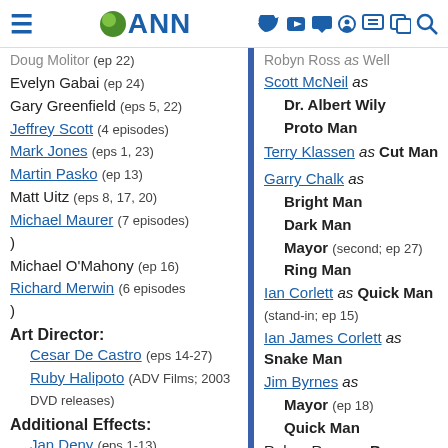ANN - Anime News Network
Doug Molitor (ep 22)
Evelyn Gabai (ep 24)
Gary Greenfield (eps 5, 22)
Jeffrey Scott (4 episodes)
Mark Jones (eps 1, 23)
Martin Pasko (ep 13)
Matt Uitz (eps 8, 17, 20)
Michael Maurer (7 episodes)
Michael O'Mahony (ep 16)
Richard Merwin (6 episodes)
Art Director:
Cesar De Castro (eps 14-27)
Ruby Halipoto (ADV Films; 2003 DVD releases)
Additional Effects:
Jan Deny (eps 1-13)
Paul Silveria (eps 1-13)
Robyn Ross as
Scott McNeil as Dr. Albert Wily, Proto Man
Terry Klassen as Cut Man
Garry Chalk as Bright Man, Dark Man, Mayor (second; ep 27), Ring Man
Ian Corlett as Quick Man (stand-in; ep 15)
Ian James Corlett as Snake Man
Jim Byrnes as Mayor (ep 18), Quick Man
Robyn Ross as Bree Ricotta
Scott McNeil as Drill Man, Eddie